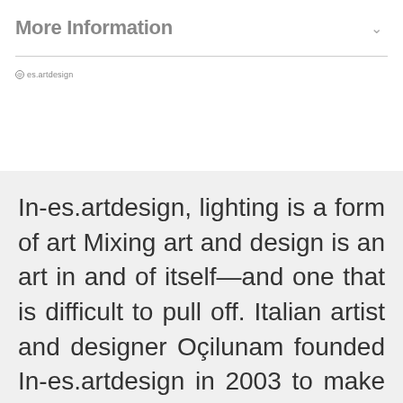More Information
[Figure (logo): @es.artdesign logo/handle text in small gray font]
In-es.artdesign, lighting is a form of art Mixing art and design is an art in and of itself—and one that is difficult to pull off. Italian artist and designer Oçilunam founded In-es.artdesign in 2003 to make it happen. His interior accessories radiate